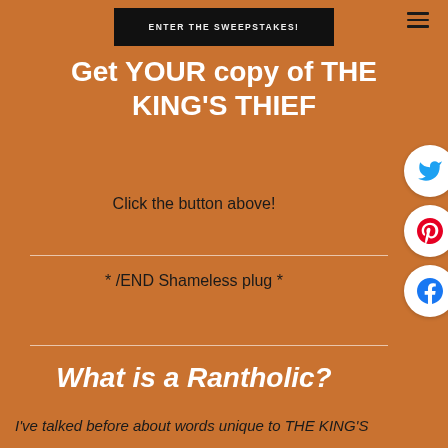ENTER THE SWEEPSTAKES!
Get YOUR copy of THE KING'S THIEF
Click the button above!
* /END Shameless plug *
What is a Rantholic?
I've talked before about words unique to THE KING'S